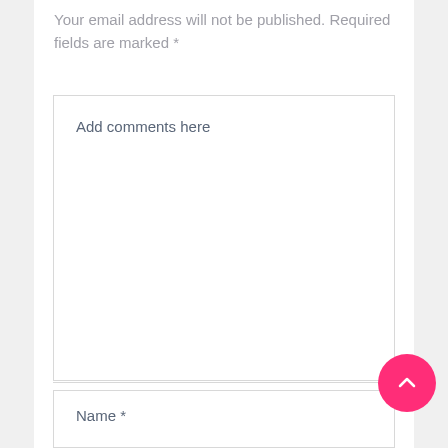Your email address will not be published. Required fields are marked *
Add comments here
Name *